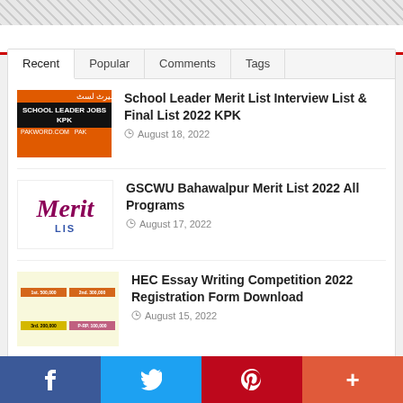Recent | Popular | Comments | Tags
School Leader Merit List Interview List & Final List 2022 KPK — August 18, 2022
GSCWU Bahawalpur Merit List 2022 All Programs — August 17, 2022
HEC Essay Writing Competition 2022 Registration Form Download — August 15, 2022
Facebook | Twitter | Pinterest | More